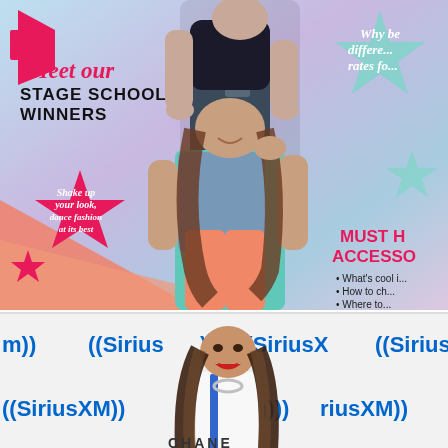[Figure (photo): Magazine cover showing two young celebrities posing together against a pastel purple/blue/pink background with decorative stars. Text overlays include 'Meet our STAGE SCHOOL WINNERS', 'Shake up your look, dance fashion at its best', 'MUST H ACCESSO', 'Why be different rates fo', and bullet points about accessories.]
[Figure (photo): Photo of a young woman with long ombre brown hair and red lipstick, smiling, in front of a SiriusXM branded backdrop/step-and-repeat banner. Multiple SiriusXM logos visible. She appears to be wearing a white top with blue accent and silver necklace. Bottom of image shows partial text 'CHANE' or similar.]